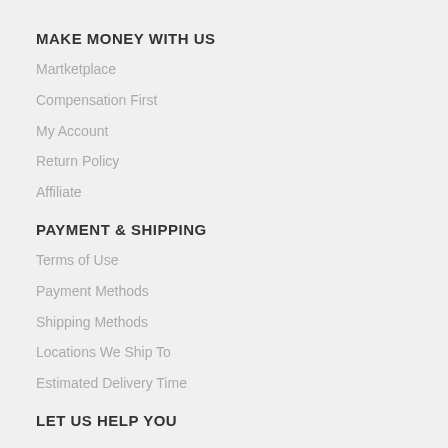MAKE MONEY WITH US
Martketplace
Compensation First
My Account
Return Policy
Affiliate
PAYMENT & SHIPPING
Terms of Use
Payment Methods
Shipping Methods
Locations We Ship To
Estimated Delivery Time
LET US HELP YOU